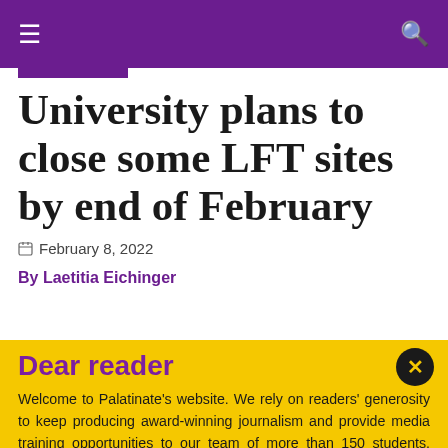≡  🔍
University plans to close some LFT sites by end of February
February 8, 2022
By Laetitia Eichinger
Dear reader
Welcome to Palatinate's website. We rely on readers' generosity to keep producing award-winning journalism and provide media training opportunities to our team of more than 150 students. Palatinate has produced some of the biggest names in British media, from Jeremy Vine to the late great Sir Harold Evans. Every contribution to Palatinate is an investment into the future of journalism.
Donate